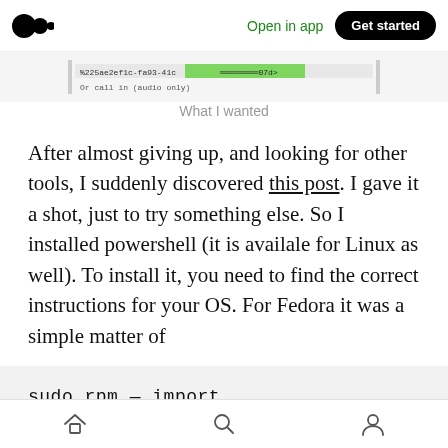Open in app   Get started
[Figure (screenshot): Partial screenshot showing a URL hash string and partial text 'Or call in (audio only)']
What I wanted
After almost giving up, and looking for other tools, I suddenly discovered this post. I gave it a shot, just to try something else. So I installed powershell (it is availale for Linux as well). To install it, you need to find the correct instructions for your OS. For Fedora it was a simple matter of
sudo rpm — import
Home  Search  Profile